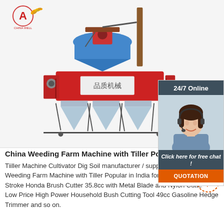[Figure (photo): Red weeding farm machine / tiller cultivator with three triangular plow attachments at the bottom and a seed hopper on top, photographed on white background. Company logo (A with wheat symbol) visible top-left.]
[Figure (infographic): 24/7 Online chat widget with dark header, photo of woman with headset smiling, text 'Click here for free chat!' and orange QUOTATION button.]
China Weeding Farm Machine with Tiller Popular in India ...
Tiiller Machine Cultivator Dig Soil manufacturer / supplier in China offering Weeding Farm Machine with Tiller Popular in India for Planting Crops 4-Stroke Honda Brush Cutter 35.8cc with Metal Blade and Nylon Cutter at Low Price High Power Household Bush Cutting Tool 49cc Gasoline Hedge Trimmer and so on.